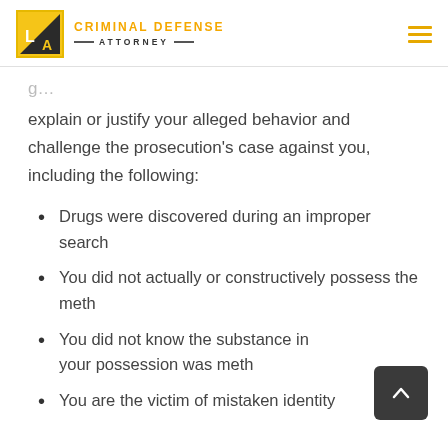LA Criminal Defense Attorney
explain or justify your alleged behavior and challenge the prosecution's case against you, including the following:
Drugs were discovered during an improper search
You did not actually or constructively possess the meth
You did not know the substance in your possession was meth
You are the victim of mistaken identity